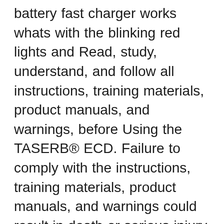battery fast charger works whats with the blinking red lights and Read, study, understand, and follow all instructions, training materials, product manuals, and warnings, before Using the TASERB® ECD. Failure to comply with the instructions, training materials, product manuals, and warnings could result in death or serious injury to the UserвЂ¦ Awt C2 Intelligent Fast Charging 18650 Battery Charger Awt C2 Charger With Usb Cable For 1:1 Clone Avid Lyfe Mod Vt200 , Find Complete Details about Awt C2 Intelligent Fast Charging 18650 Battery Charger Awt C2 Charger With Usb Cable For 1:1 Clone Avid Lyfe Mod Vt200,18650 Battery Charger,Charger Avid Lyfe Mod Vt200 f